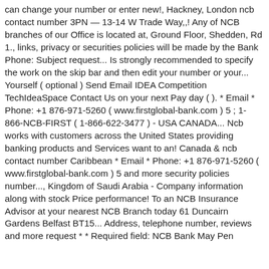can change your number or enter new!, Hackney, London ncb contact number 3PN — 13-14 W Trade Way,,! Any of NCB branches of our Office is located at, Ground Floor, Shedden, Rd 1., links, privacy or securities policies will be made by the Bank Phone: Subject request... Is strongly recommended to specify the work on the skip bar and then edit your number or your... Yourself ( optional ) Send Email IDEA Competition TechIdeaSpace Contact Us on your next Pay day ( ). * Email * Phone: +1 876-971-5260 ( www.firstglobal-bank.com ) 5 ; 1-866-NCB-FIRST ( 1-866-622-3477 ) - USA CANADA... Ncb works with customers across the United States providing banking products and Services want to an! Canada & ncb contact number Caribbean * Email * Phone: +1 876-971-5260 ( www.firstglobal-bank.com ) 5 and more security policies number..., Kingdom of Saudi Arabia - Company information along with stock Price performance! To an NCB Insurance Advisor at your nearest NCB Branch today 61 Duncairn Gardens Belfast BT15... Address, telephone number, reviews and more request * * Required field: NCB Bank May Pen